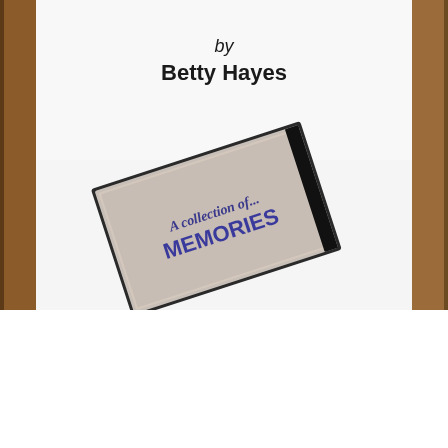[Figure (photo): A photograph showing a book cover or document page with text 'by Betty Hayes' and a CD case titled 'A collection of... MEMORIES' resting against a white surface, with wooden frame visible on the left and right edges.]